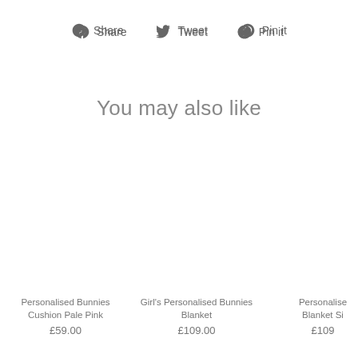f Share  Tweet  Pin it
You may also like
Personalised Bunnies Cushion Pale Pink
£59.00
Girl's Personalised Bunnies Blanket
£109.00
Personalise Blanket Si
£109